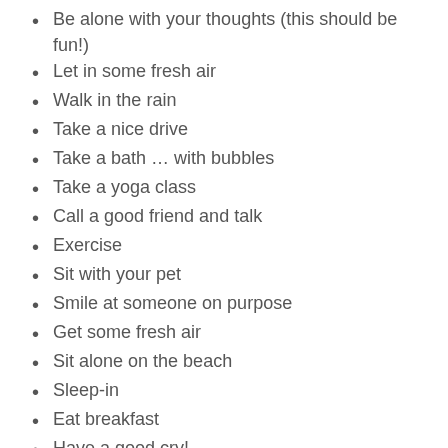Be alone with your thoughts (this should be fun!)
Let in some fresh air
Walk in the rain
Take a nice drive
Take a bath … with bubbles
Take a yoga class
Call a good friend and talk
Exercise
Sit with your pet
Smile at someone on purpose
Get some fresh air
Sit alone on the beach
Sleep-in
Eat breakfast
Have a good cry!
Plan a night out with friends
Go to the library